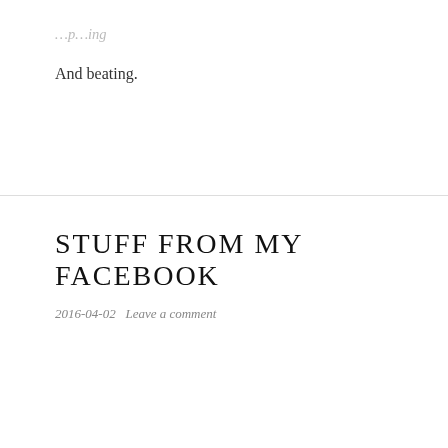And beating.
STUFF FROM MY FACEBOOK
2016-04-02   Leave a comment
[Figure (screenshot): A Facebook post by Mia Mäkilä dated 1 Mar 2015 at 10:04p.m. with text 'Your touch translated across the ocean and the hours lost in between.' and '[Artwork by Grete Stern]', showing a sepia-toned photo of hands near water.]